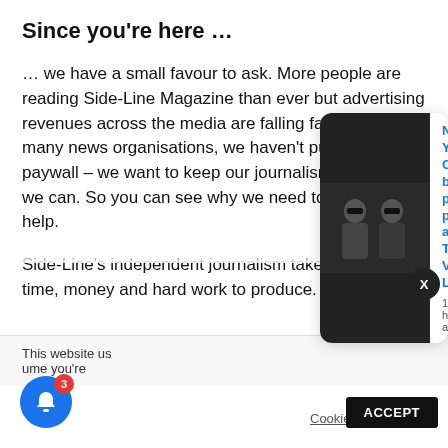Since you’re here …
… we have a small favour to ask. More people are reading Side-Line Magazine than ever but advertising revenues across the media are falling fast. And unlike many news organisations, we haven’t put up a paywall – we want to keep our journalism as open as we can. So you can see why we need to ask for your help.
Side-Line’s independent journalism takes a lot of time, money and hard work to produce. But we do it
This website us
ume you’re
[Figure (photo): Black and white photo of two people wearing sunglasses, associated with New York City based post-punk act The Vacant Lots notification popup]
New York City based post-punk act The Vacant Lots
17 hours ago
Cookie settings
ACCEPT